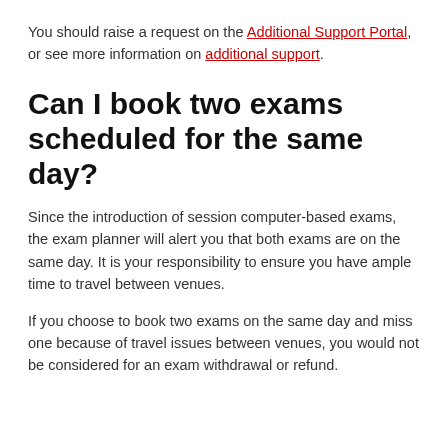You should raise a request on the Additional Support Portal, or see more information on additional support.
Can I book two exams scheduled for the same day?
Since the introduction of session computer-based exams, the exam planner will alert you that both exams are on the same day. It is your responsibility to ensure you have ample time to travel between venues.
If you choose to book two exams on the same day and miss one because of travel issues between venues, you would not be considered for an exam withdrawal or refund.